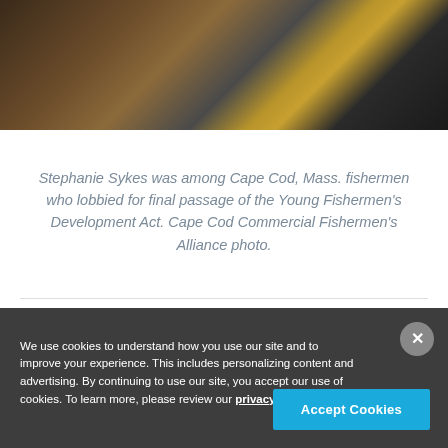[Figure (photo): Photograph of fishing equipment — crates, buoys, and gear on a boat deck, seen from above/close angle. Dark tones with brown wooden structures and yellow/black containers.]
Stephanie Sykes was among Cape Cod, Mass. fishermen who lobbied for final passage of the Young Fishermen's Development Act. Cape Cod Commercial Fishermen's Alliance photo.
We use cookies to understand how you use our site and to improve your experience. This includes personalizing content and advertising. By continuing to use our site, you accept our use of cookies. To learn more, please review our privacy policy.